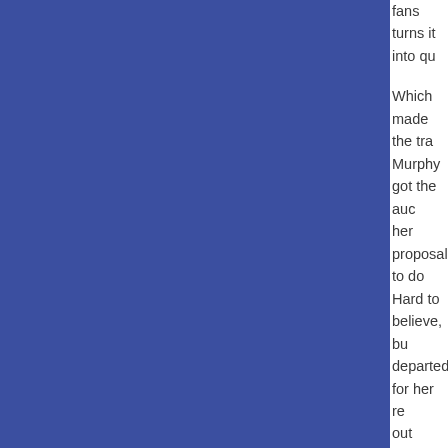[Figure (other): Large solid blue rectangle occupying the left portion of the page]
fans turns it into qu... Which made the tra... Murphy got the aud... her proposal to do ... Hard to believe, bu... departed for her re... out prizes for endir... Jim Jeffries followe... Australian" who se... kids should be exp... should not be liste... story, by the way, a... audience. Perhaps... material. He's a ch... So Jeffries wanted... Good luck followin... Of course, Patton O... crowd there to see... opened topically w... tell him, "Have fun... condition. Then, pe... spent the next seve...